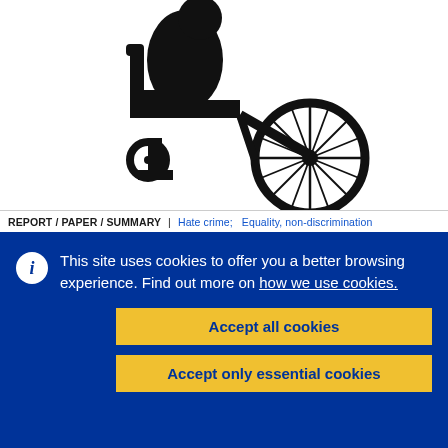[Figure (photo): Silhouette of a person in a wheelchair against a white background, showing the side profile with the large wheel visible]
REPORT / PAPER / SUMMARY | Hate crime;  Equality, non-discrimination
This site uses cookies to offer you a better browsing experience. Find out more on how we use cookies.
Accept all cookies
Accept only essential cookies